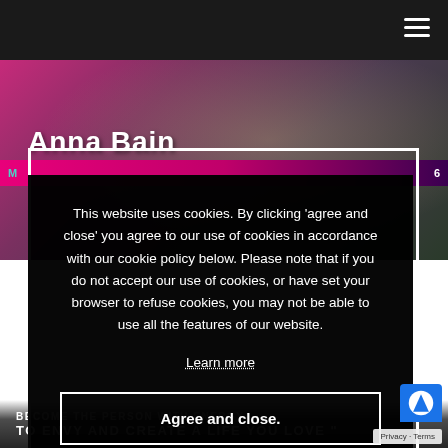Anna Bain
[Figure (screenshot): Website screenshot showing Anna Bain blog/coaching website with dark nav bar, hamburger menu, hero photo with blurred face, pink navigation bar, and cookie consent modal overlay.]
This website uses cookies. By clicking ‘agree and close’ you agree to our use of cookies in accordance with our cookie policy below. Please note that if you do not accept our use of cookies, or have set your browser to refuse cookies, you may not be able to use all the features of our website.
Learn more
Agree and close.
BECOME THE PERSON WITH ENERGY TO ENVY AND CREATE A LIFE YOU LOVE "
Privacy · Terms